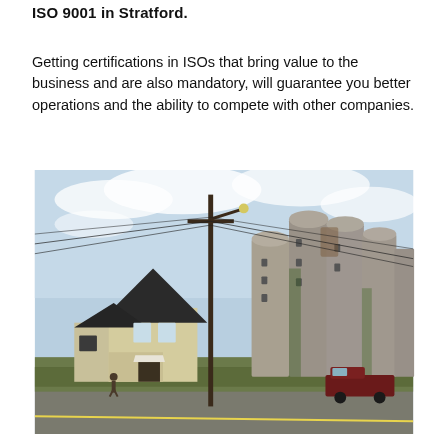ISO 9001 in Stratford.
Getting certifications in ISOs that bring value to the business and are also mandatory, will guarantee you better operations and the ability to compete with other companies.
[Figure (photo): Street scene showing an old yellow house with a dark roof next to large industrial grain silos overgrown with vines, a utility pole with overhead wires, trees, and a dark red pickup truck parked on the street. Blue sky with clouds in the background.]